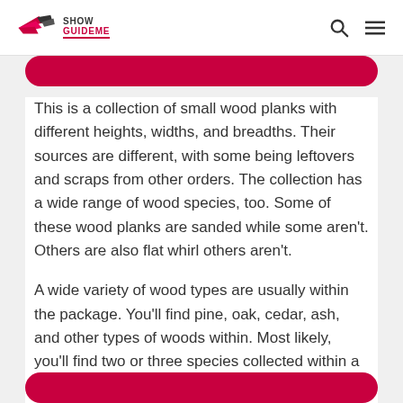Show GuideMe
This is a collection of small wood planks with different heights, widths, and breadths. Their sources are different, with some being leftovers and scraps from other orders. The collection has a wide range of wood species, too. Some of these wood planks are sanded while some aren't. Others are also flat whirl others aren't.
A wide variety of wood types are usually within the package. You'll find pine, oak, cedar, ash, and other types of woods within. Most likely, you'll find two or three species collected within a package. However, you don't have an idea of the type of planks you'll meet inside the box. Meanwhile, take a look at its features below.